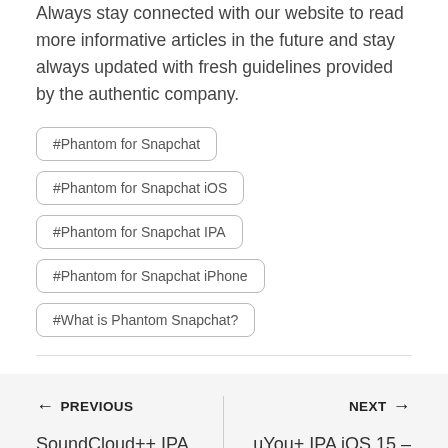Always stay connected with our website to read more informative articles in the future and stay always updated with fresh guidelines provided by the authentic company.
#Phantom for Snapchat
#Phantom for Snapchat iOS
#Phantom for Snapchat IPA
#Phantom for Snapchat iPhone
#What is Phantom Snapchat?
← PREVIOUS
SoundCloud++ IPA iOS 15 – Download Soundcloud++ IPA for ...
NEXT →
uYou+ IPA iOS 15 – Download uYouPlus IPA for iPhone, iPad ...